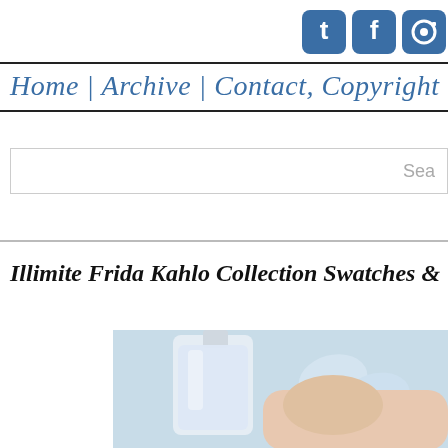[Figure (screenshot): Social media icons (Twitter, Facebook, Instagram) in blue rounded square buttons at top right]
Home | Archive | Contact, Copyright &
[Figure (screenshot): Search bar with placeholder text 'Sea...']
Illimite Frida Kahlo Collection Swatches &
[Figure (photo): Close-up photo of a hand holding a light blue/lavender nail polish bottle, with painted nails visible in the same pale blue color]